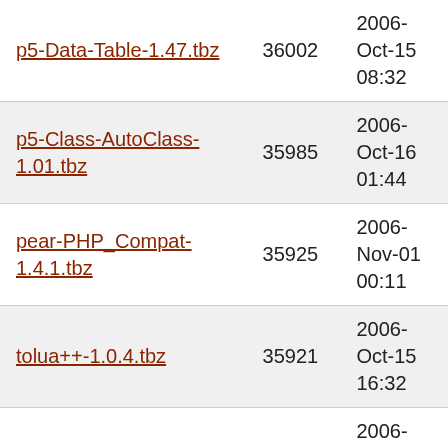| Name | Size | Date |
| --- | --- | --- |
| p5-Data-Table-1.47.tbz | 36002 | 2006-Oct-15 08:32 |
| p5-Class-AutoClass-1.01.tbz | 35985 | 2006-Oct-16 01:44 |
| pear-PHP_Compat-1.4.1.tbz | 35925 | 2006-Nov-01 00:11 |
| tolua++-1.0.4.tbz | 35921 | 2006-Oct-15 16:32 |
| glib-java-0.2.6.tbz | 35767 | 2006-Nov-16 12:33 |
| pear-PHP_Beautifier-0.1.4.tbz | 35671 | 2006-Nov-01 00:34 |
| trac-webadmin-0.1.1.2765_1.tbz | 35632 | 2006-Oct-16 18:47 |
| php-dbg-2.11.30.tbz | 35625 | 2006-Oct-31 |